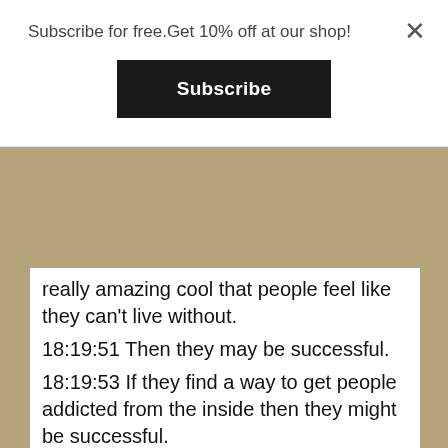Subscribe for free.Get 10% off at our shop!
Subscribe
really amazing cool that people feel like they can't live without.
18:19:51 Then they may be successful.
18:19:53 If they find a way to get people addicted from the inside then they might be successful.
18:20:01 You know, I just don't know what value, Facebook is going to be able to bring as a centralized monolithic organization run top down, that the diversity right of these people creating all these other metal verses are going to bring to the table, I just,